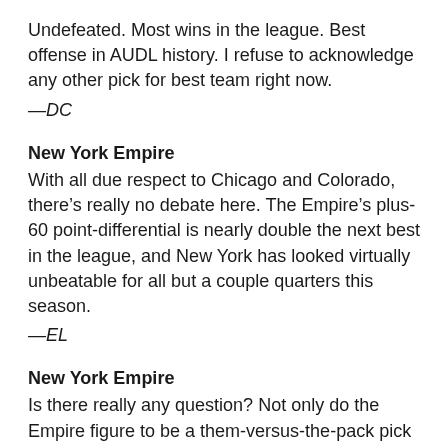Undefeated. Most wins in the league. Best offense in AUDL history. I refuse to acknowledge any other pick for best team right now.
—DC
New York Empire
With all due respect to Chicago and Colorado, there's really no debate here. The Empire's plus-60 point-differential is nearly double the next best in the league, and New York has looked virtually unbeatable for all but a couple quarters this season.
—EL
New York Empire
Is there really any question? Not only do the Empire figure to be a them-versus-the-pack pick for this year's championship, this 2022 New York team is figuring to be one of the best AUDL squads in league history. They're star studded and deep, and after losing by a